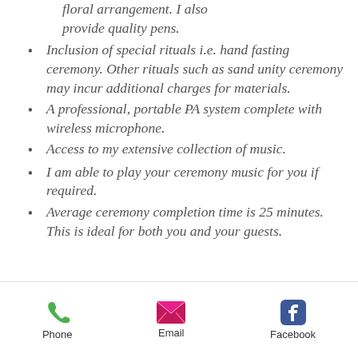floral arrangement. I also provide quality pens.
Inclusion of special rituals i.e. hand fasting ceremony. Other rituals such as sand unity ceremony may incur additional charges for materials.
A professional, portable PA system complete with wireless microphone.
Access to my extensive collection of music.
I am able to play your ceremony music for you if required.
Average ceremony completion time is 25 minutes. This is ideal for both you and your guests.
Phone  Email  Facebook